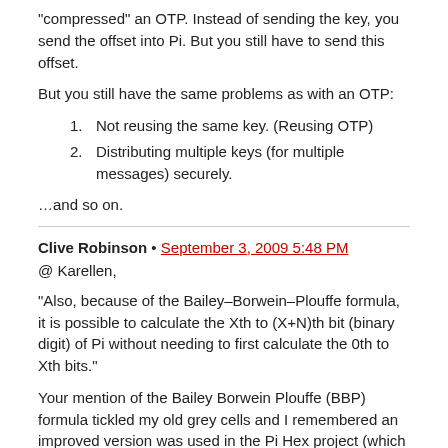“compressed” an OTP. Instead of sending the key, you send the offset into Pi. But you still have to send this offset.
But you still have the same problems as with an OTP:
1. Not reusing the same key. (Reusing OTP)
2. Distributing multiple keys (for multiple messages) securely.
…and so on.
Clive Robinson • September 3, 2009 5:48 PM
@ Karellen,
“Also, because of the Bailey–Borwein–Plouffe formula, it is possible to calculate the Xth to (X+N)th bit (binary digit) of Pi without needing to first calculate the 0th to Xth bits.”
Your mention of the Bailey Borwein Plouffe (BBP) formula tickled my old grey cells and I remembered an improved version was used in the Pi Hex project (which was a bit like the SETI@home project).